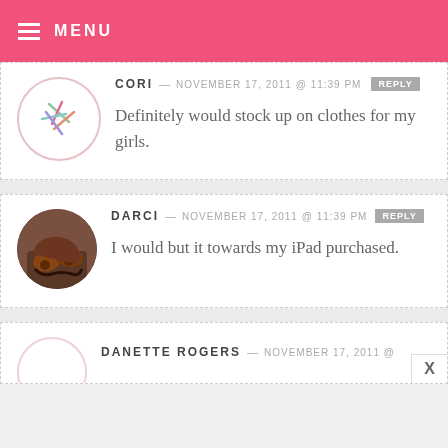MENU
CORI — NOVEMBER 17, 2011 @ 11:39 PM  REPLY
Definitely would stock up on clothes for my girls.
DARCI — NOVEMBER 17, 2011 @ 11:39 PM  REPLY
I would but it towards my iPad purchased.
DANETTE ROGERS — NOVEMBER 17, 2011 @